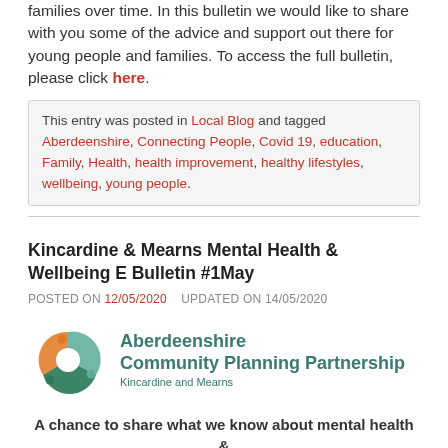families over time. In this bulletin we would like to share with you some of the advice and support out there for young people and families. To access the full bulletin, please click here.
This entry was posted in Local Blog and tagged Aberdeenshire, Connecting People, Covid 19, education, Family, Health, health improvement, healthy lifestyles, wellbeing, young people.
Kincardine & Mearns Mental Health & Wellbeing E Bulletin #1May
POSTED ON 12/05/2020   UPDATED ON 14/05/2020
[Figure (logo): Aberdeenshire Community Planning Partnership - Kincardine and Mearns logo with circular coloured icon]
A chance to share what we know about mental health & wellbeing in K & M.
Welcome to the first K&M Mental Health & Wellbeing E...